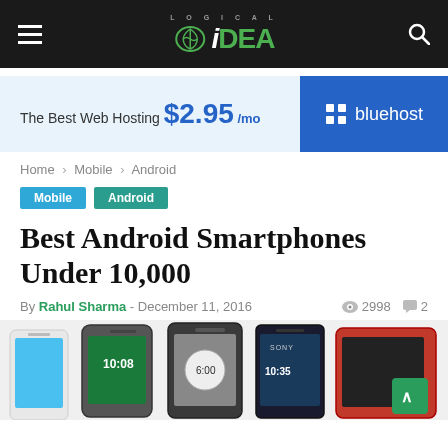Logical iDEA - navigation header with hamburger menu, logo, and search icon
[Figure (infographic): Bluehost advertisement banner: 'The Best Web Hosting $2.95 /mo' with Bluehost logo on blue background]
Home › Mobile › Android
Mobile
Android
Best Android Smartphones Under 10,000
By Rahul Sharma - December 11, 2016  👁 2998  💬 2
[Figure (photo): Strip of Android smartphone images including Samsung Galaxy, HTC One, LG G3, Sony Xperia, and another device]